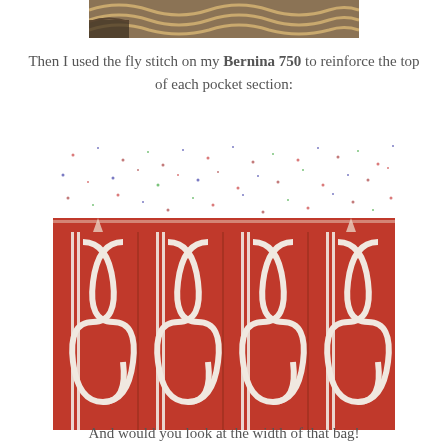[Figure (photo): Partial top image showing decorative fabric with wave/swirl pattern in earth tones, cropped at top of page]
Then I used the fly stitch on my Bernina 750 to reinforce the top of each pocket section:
[Figure (photo): Close-up photo of a fabric bag showing a red fabric with white ribbon/braid interlocking pattern on the lower portion and a white dotted/speckled fabric strip at the top, with visible stitching reinforcing the top of each pocket section]
And would you look at the width of that bag!